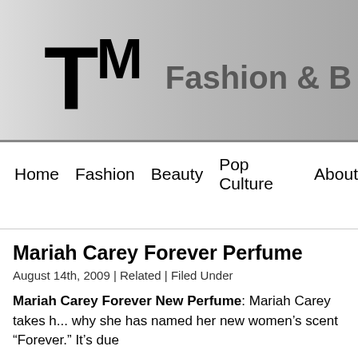TM  Fashion & B
Home  Fashion  Beauty  Pop Culture  About
Mariah Carey Forever Perfume
August 14th, 2009 | Related | Filed Under
Mariah Carey Forever New Perfume: Mariah Carey takes h... why she has named her new women's scent “Forever.” It’s due...
“I am in a wonderful place right now, surrounded by all the thi... moment in time,” said the entertainer, whose first scent M by...